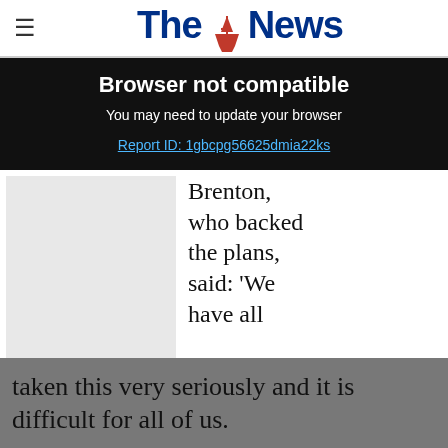The News
Browser not compatible
You may need to update your browser
Report ID: 1gbcpg56625dmia22ks
Brenton, who backed the plans, said: ‘We have all taken this very seriously and it is difficult for all of us.
Win a £1,000 gift card with Dobbies